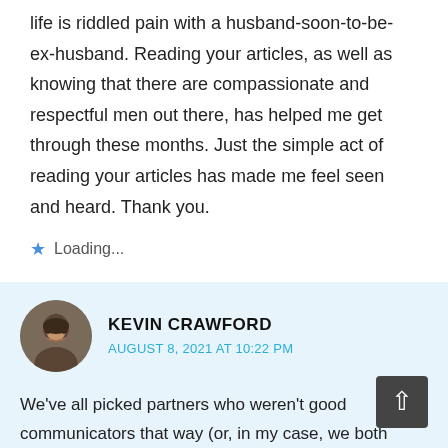life is riddled pain with a husband-soon-to-be-ex-husband. Reading your articles, as well as knowing that there are compassionate and respectful men out there, has helped me get through these months. Just the simple act of reading your articles has made me feel seen and heard. Thank you.
★ Loading...
KEVIN CRAWFORD
AUGUST 8, 2021 AT 10:22 PM
We've all picked partners who weren't good communicators that way (or, in my case, we both weren't). But we live and learn (well, some do, some don't) – but just knowing that the next man (or woman) isn't the same as the failed